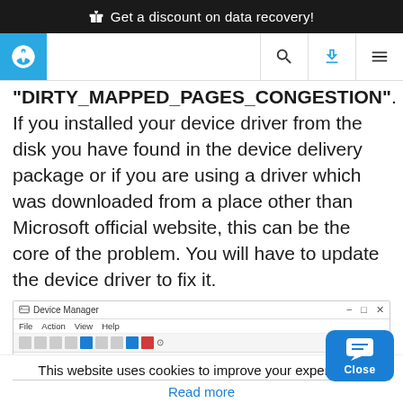🎁 Get a discount on data recovery!
[Figure (screenshot): Website navigation bar with gear/settings logo icon on the left (blue background), search icon, blue download icon, and hamburger menu icon on the right]
"DIRTY_MAPPED_PAGES_CONGESTION". If you installed your device driver from the disk you have found in the device delivery package or if you are using a driver which was downloaded from a place other than Microsoft official website, this can be the core of the problem. You will have to update the device driver to fix it.
[Figure (screenshot): Windows Device Manager window showing tree with: pc-valera root, Audio inputs and outputs, Computer, Disk drives entries]
This website uses cookies to improve your experience.
Read more